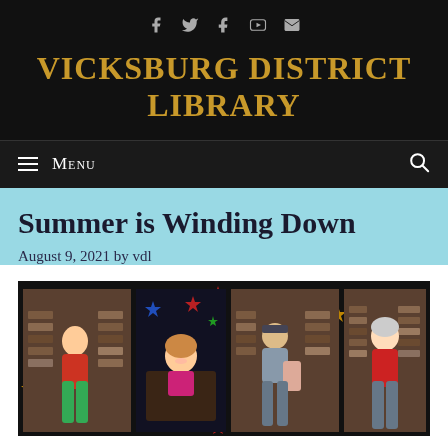[Social icons: Facebook, Twitter, Tumblr, YouTube, Email]
VICKSBURG DISTRICT LIBRARY
≡ Menu
Summer is Winding Down
August 9, 2021 by vdl
[Figure (photo): Collage of four photos showing children and adults at the Vicksburg District Library, celebrating summer reading with colorful star confetti backgrounds.]